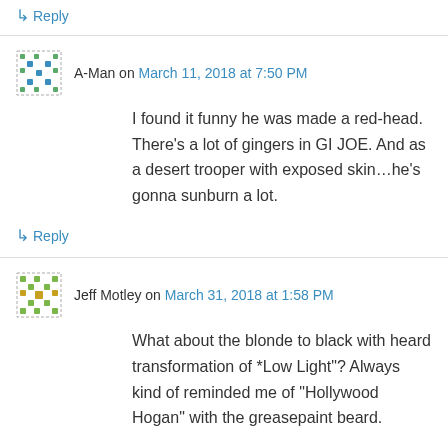↳ Reply
A-Man on March 11, 2018 at 7:50 PM
I found it funny he was made a red-head. There's a lot of gingers in GI JOE. And as a desert trooper with exposed skin...he's gonna sunburn a lot.
↳ Reply
Jeff Motley on March 31, 2018 at 1:58 PM
What about the blonde to black with heard transformation of *Low Light"? Always kind of reminded me of "Hollywood Hogan" with the greasepaint beard.